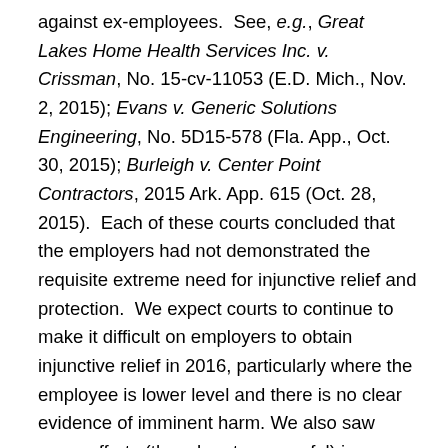against ex-employees.  See, e.g., Great Lakes Home Health Services Inc. v. Crissman, No. 15-cv-11053 (E.D. Mich., Nov. 2, 2015); Evans v. Generic Solutions Engineering, No. 5D15-578 (Fla. App., Oct. 30, 2015); Burleigh v. Center Point Contractors, 2015 Ark. App. 615 (Oct. 28, 2015).  Each of these courts concluded that the employers had not demonstrated the requisite extreme need for injunctive relief and protection.  We expect courts to continue to make it difficult on employers to obtain injunctive relief in 2016, particularly where the employee is lower level and there is no clear evidence of imminent harm. We also saw some efforts (though not successful) in Michigan, Washington, Iowa, and Massachusetts to ban or otherwise limit non-competes.